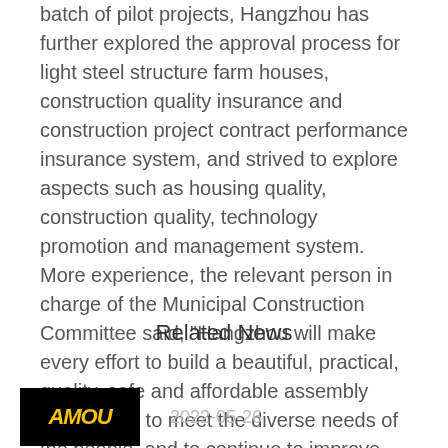batch of pilot projects, Hangzhou has further explored the approval process for light steel structure farm houses, construction quality insurance and construction project contract performance insurance system, and strived to explore aspects such as housing quality, construction quality, technology promotion and management system. More experience, the relevant person in charge of the Municipal Construction Committee said, "Hangzhou will make every effort to build a beautiful, practical, quality, safe and affordable assembly farmhouse, to meet the diverse needs of the people, and to continue to improve the sense of rural habitation and happiness."
Related News
[Figure (photo): Thumbnail image with yellow text on black background showing partial text 'AMOU']
2022-05-26